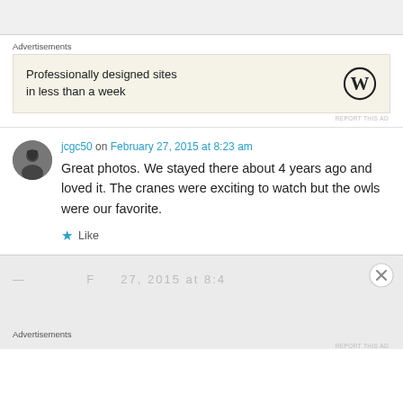[Figure (other): Top gray bar partial content area]
Advertisements
[Figure (other): Advertisement box: Professionally designed sites in less than a week, with WordPress logo]
REPORT THIS AD
jcgc50 on February 27, 2015 at 8:23 am
Great photos. We stayed there about 4 years ago and loved it. The cranes were exciting to watch but the owls were our favorite.
Like
[Figure (other): Bottom gray bar with partial text and close button]
Advertisements
REPORT THIS AD